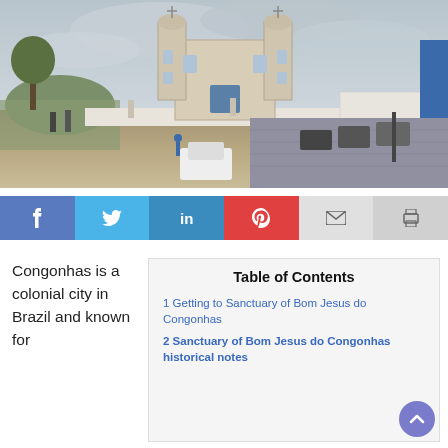[Figure (photo): Exterior view of a Brazilian colonial church (Sanctuary of Bom Jesus do Congonhas) with twin baroque towers, cobblestone street with parked cars, white perimeter wall with statues, overcast sky, and surrounding landscape.]
[Figure (infographic): Social sharing bar with buttons for Facebook (f), Twitter (bird icon), LinkedIn (in), Pinterest (p), Email (envelope icon), and Print (printer icon).]
Congonhas is a colonial city in Brazil and known for
Table of Contents
1 Getting to Sanctuary of Bom Jesus do Congonhas
2 Sanctuary of Bom Jesus do Congonhas historical notes